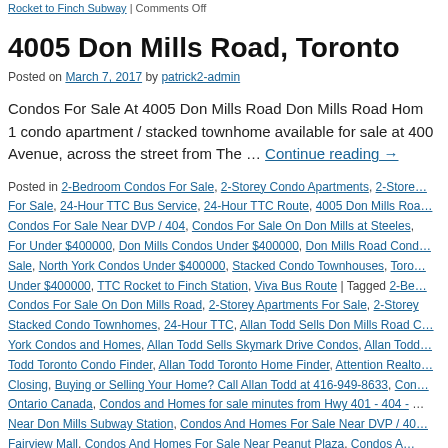Rocket to Finch Subway | Comments Off
4005 Don Mills Road, Toronto
Posted on March 7, 2017 by patrick2-admin
Condos For Sale At 4005 Don Mills Road Don Mills Road Hom… 1 condo apartment / stacked townhome available for sale at 400… Avenue, across the street from The … Continue reading →
Posted in 2-Bedroom Condos For Sale, 2-Storey Condo Apartments, 2-Store… For Sale, 24-Hour TTC Bus Service, 24-Hour TTC Route, 4005 Don Mills Roa… Condos For Sale Near DVP / 404, Condos For Sale On Don Mills at Steeles, … For Under $400000, Don Mills Condos Under $400000, Don Mills Road Cond… Sale, North York Condos Under $400000, Stacked Condo Townhouses, Toro… Under $400000, TTC Rocket to Finch Station, Viva Bus Route | Tagged 2-Be… Condos For Sale On Don Mills Road, 2-Storey Apartments For Sale, 2-Storey Stacked Condo Townhomes, 24-Hour TTC, Allan Todd Sells Don Mills Road C… York Condos and Homes, Allan Todd Sells Skymark Drive Condos, Allan Todd Todd Toronto Condo Finder, Allan Todd Toronto Home Finder, Attention Realto… Closing, Buying or Selling Your Home? Call Allan Todd at 416-949-8633, Con… Ontario Canada, Condos and Homes for sale minutes from Hwy 401 - 404 - … Near Don Mills Subway Station, Condos And Homes For Sale Near DVP / 40… Fairview Mall, Condos And Homes For Sale Near Peanut Plaza, Condos Al…